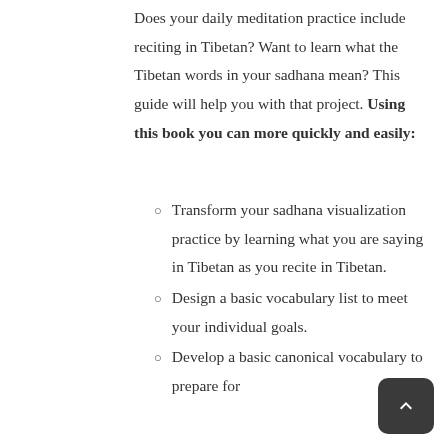Does your daily meditation practice include reciting in Tibetan? Want to learn what the Tibetan words in your sadhana mean? This guide will help you with that project. Using this book you can more quickly and easily:
Transform your sadhana visualization practice by learning what you are saying in Tibetan as you recite in Tibetan.
Design a basic vocabulary list to meet your individual goals.
Develop a basic canonical vocabulary to prepare for